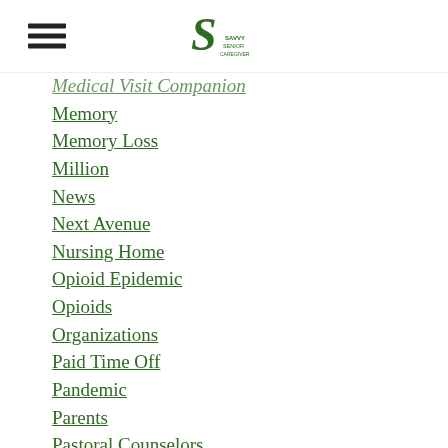Savvy Senior Caregiver — navigation menu with hamburger icon and logo
Medical Visit Companion
Memory
Memory Loss
Million
News
Next Avenue
Nursing Home
Opioid Epidemic
Opioids
Organizations
Paid Time Off
Pandemic
Parents
Pastoral Counselors
Performance
Photos
Planning
Plans
Polio